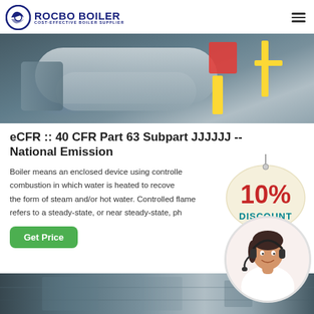ROCBO BOILER - COST-EFFECTIVE BOILER SUPPLIER
[Figure (photo): Industrial boiler equipment photo showing large boiler tank with pipes and red component, yellow pipes visible on right side]
eCFR :: 40 CFR Part 63 Subpart JJJJJJ -- National Emission
Boiler means an enclosed device using controlled combustion in which water is heated to recover thermal energy the form of steam and/or hot water. Controlled flame combustion refers to a steady-state, or near steady-state, ph
[Figure (other): 10% DISCOUNT badge/sticker overlay in red and teal colors]
[Figure (photo): Customer service representative woman with headset, circular cropped photo]
[Figure (photo): Bottom strip showing industrial boiler or equipment interior]